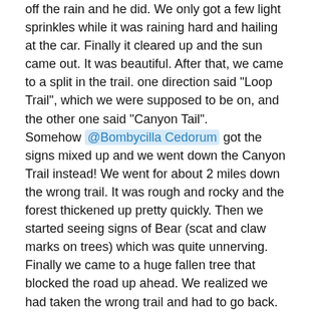off the rain and he did. We only got a few light sprinkles while it was raining hard and hailing at the car. Finally it cleared up and the sun came out. It was beautiful. After that, we came to a split in the trail. one direction said "Loop Trail", which we were supposed to be on, and the other one said "Canyon Tail". Somehow @Bombycilla Cedorum got the signs mixed up and we went down the Canyon Trail instead! We went for about 2 miles down the wrong trail. It was rough and rocky and the forest thickened up pretty quickly. Then we started seeing signs of Bear (scat and claw marks on trees) which was quite unnerving. Finally we came to a huge fallen tree that blocked the road up ahead. We realized we had taken the wrong trail and had to go back. By then we were all dead tired and very dispirited. On the way back down the trail we started singing to lift our spirits. It really helped! We finally made it back to the right trail and stumbled the rest of the way back (turns out it was quite a long way) to the car. We all agreed that we never wanted to do that again.
In spite of all of this I still got two more lifers:
Canyon Wren*
Olive-sided Flycatcher* (a big nemesis before)